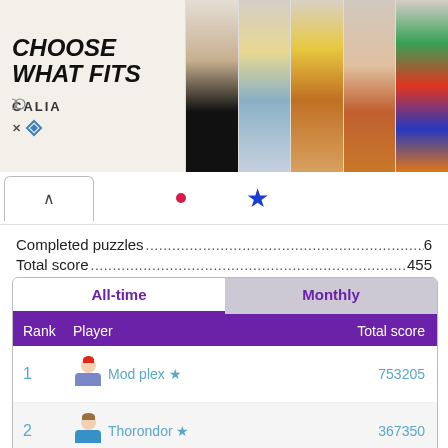[Figure (screenshot): Advertisement banner for Calia swimwear with text 'Choose What Fits' and multiple product images]
Completed puzzles.....................................................6
Total score..............................................................455
| All-time (tab) | Monthly (tab) |
| --- | --- |
| Rank | Player | Total score |
| 1 | Mod plex ★ | 753205 |
| 2 | Thorondor ★ | 367350 |
| 3 | Calobeto63 ★ | 143875 |
| 4 | sam_b ☆ | 125655 |
| ⋮ | ⋮ | ⋮ |
| 134 | Cal08 ★ | 465 |